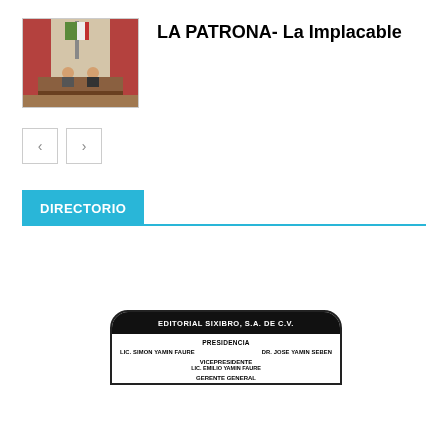[Figure (photo): Thumbnail photo of a political or legislative scene with red curtains and a Mexican flag.]
LA PATRONA- La Implacable
[Figure (other): Navigation buttons with left and right arrows]
DIRECTORIO
[Figure (other): Editorial Sixibro S.A. de C.V. directory card with Presidencia, names Lic. Simon Yamin Faure and Dr. Jose Yamin Seben, Vicepresidente Lic. Emilio Yamin Faure, and Gerente General section.]